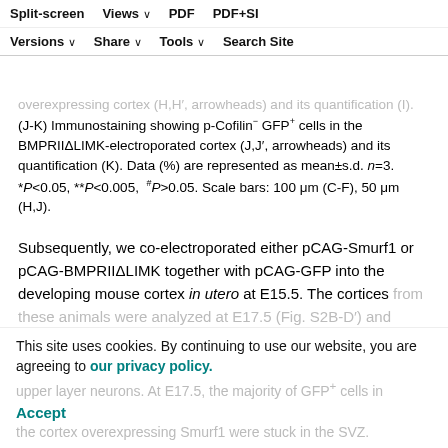Split-screen  Views  PDF  PDF+SI  Versions  Share  Tools  Search Site
overexpressing cortex (H,H′, arrowheads) and its quantification (I). (J-K) Immunostaining showing p-Cofilin⁻ GFP⁺ cells in the BMPRIIΔLIMK-electroporated cortex (J,J′, arrowheads) and its quantification (K). Data (%) are represented as mean±s.d. n=3. *P<0.05, **P<0.005, #P>0.05. Scale bars: 100 μm (C-F), 50 μm (H,J).
Subsequently, we co-electroporated either pCAG-Smurf1 or pCAG-BMPRIIΔLIMK together with pCAG-GFP into the developing mouse cortex in utero at E15.5. The cortices from these animals were analyzed at E17.5 (Fig. S2B-D′) and
This site uses cookies. By continuing to use our website, you are agreeing to our privacy policy. Accept